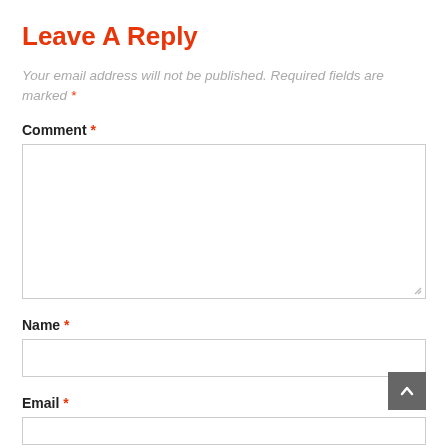Leave A Reply
Your email address will not be published. Required fields are marked *
Comment *
[Figure (screenshot): Large textarea input box for comment, with resize handle at bottom right]
Name *
[Figure (screenshot): Single-line text input box for name]
Email *
[Figure (screenshot): Single-line text input box for email (partially visible at bottom)]
[Figure (screenshot): Scroll-to-top button (dark gray square with white upward chevron) at bottom right]